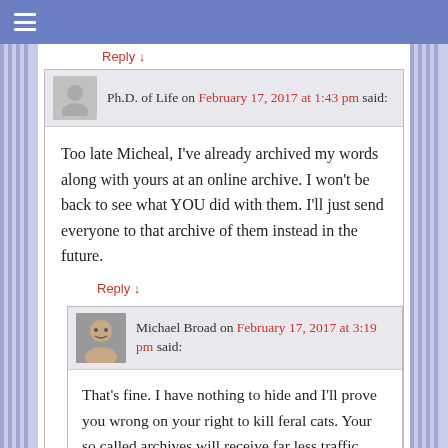Reply ↓
Ph.D. of Life on February 17, 2017 at 1:43 pm said:
Too late Micheal, I've already archived my words along with yours at an online archive. I won't be back to see what YOU did with them. I'll just send everyone to that archive of them instead in the future.
Reply ↓
Michael Broad on February 17, 2017 at 3:19 pm said:
That's fine. I have nothing to hide and I'll prove you wrong on your right to kill feral cats. Your so called archives will receive far less traffic than my site. No one will read your biased stuff except people who think like you. What's the point?